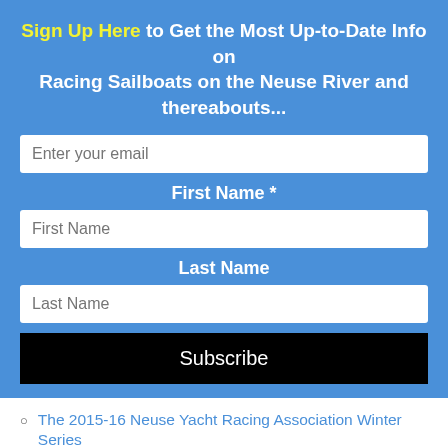Sign Up Here to Get the Most Up-to-Date Info on Racing Sailboats on the Neuse River and thereabouts...
Enter your email (input field)
First Name *
First Name (input field)
Last Name
Last Name (input field)
Subscribe (button)
The 2015-16 Neuse Yacht Racing Association Winter Series
2015 Michelob Ultra Cup Regatta
Parrothead Regatta COMING UP July 25, 2015
San Juan 21 North American Championships